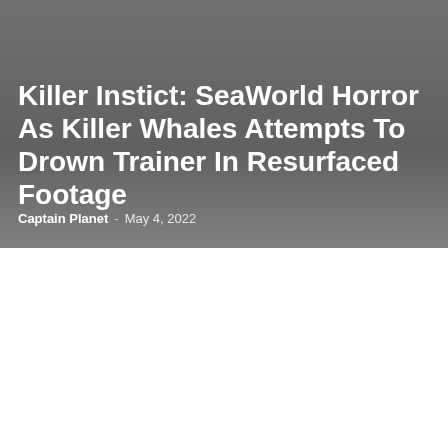Killer Instict: SeaWorld Horror As Killer Whales Attempts To Drown Trainer In Resurfaced Footage
Captain Planet - May 4, 2022